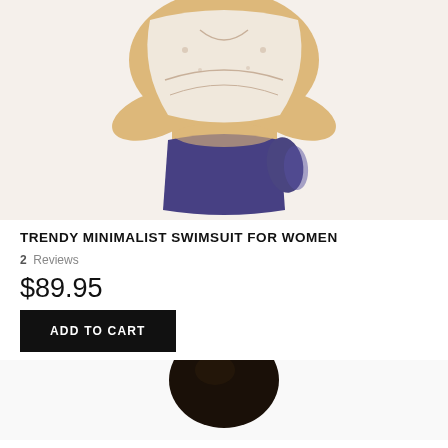[Figure (photo): Woman modeling a two-piece swimsuit with floral embroidered cream bra top and purple bikini bottom with ruffle detail, arms crossed at torso]
TRENDY MINIMALIST SWIMSUIT FOR WOMEN
2  Reviews
$89.95
ADD TO CART
[Figure (photo): Partial photo of second product, showing top of model's head with dark hair]